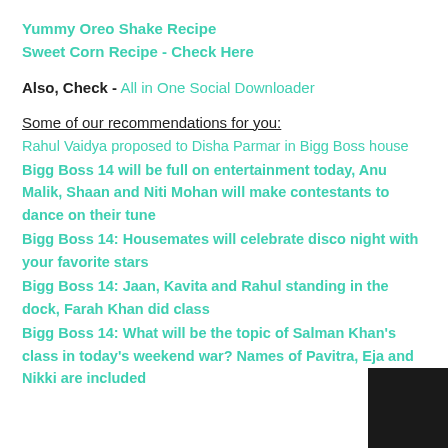Yummy Oreo Shake Recipe
Sweet Corn Recipe - Check Here
Also, Check - All in One Social Downloader
Some of our recommendations for you:
Rahul Vaidya proposed to Disha Parmar in Bigg Boss house
Bigg Boss 14 will be full on entertainment today, Anu Malik, Shaan and Niti Mohan will make contestants to dance on their tune
Bigg Boss 14: Housemates will celebrate disco night with your favorite stars
Bigg Boss 14: Jaan, Kavita and Rahul standing in the dock, Farah Khan did class
Bigg Boss 14: What will be the topic of Salman Khan's class in today's weekend war? Names of Pavitra, Eja and Nikki are included
[Figure (other): Black rectangle in bottom right corner]